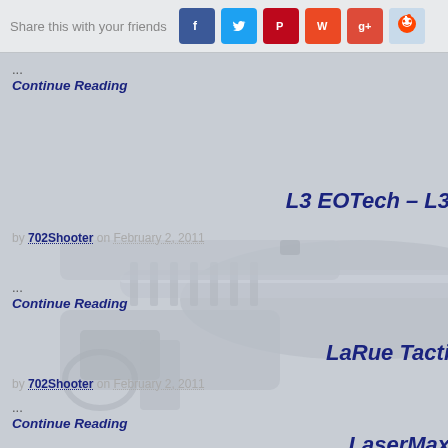Share this with your friends
...
Continue Reading
L3 EOTech – L3
by 702Shooter on February 2, 2011
...
Continue Reading
[Figure (photo): Background image of an AR-15 style rifle in light grey/blue tones]
LaRue Tacti
by 702Shooter on February 2, 2011
...
Continue Reading
LaserMax